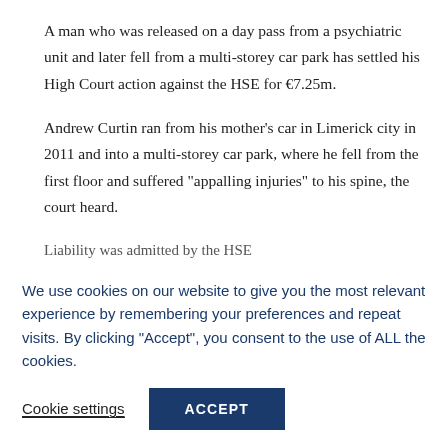A man who was released on a day pass from a psychiatric unit and later fell from a multi-storey car park has settled his High Court action against the HSE for €7.25m.
Andrew Curtin ran from his mother's car in Limerick city in 2011 and into a multi-storey car park, where he fell from the first floor and suffered "appalling injuries" to his spine, the court heard.
Liability was admitted by the HSE
We use cookies on our website to give you the most relevant experience by remembering your preferences and repeat visits. By clicking "Accept", you consent to the use of ALL the cookies.
Cookie settings
ACCEPT